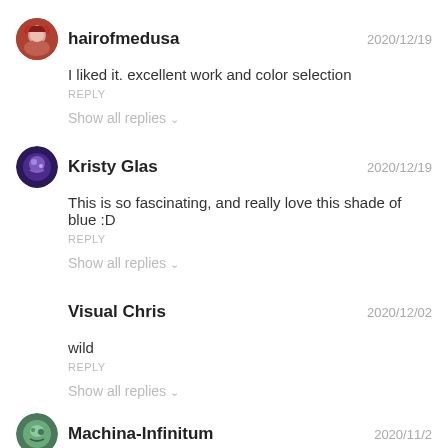hairofmedusa
2020/12/19
I liked it. excellent work and color selection
REPLY
Show all replies
Kristy Glas
2020/12/19
This is so fascinating, and really love this shade of blue :D
REPLY
Show all replies
Visual Chris
2020/12/02
wild
REPLY
Show all replies
Machina-Infinitum
2020/11/27